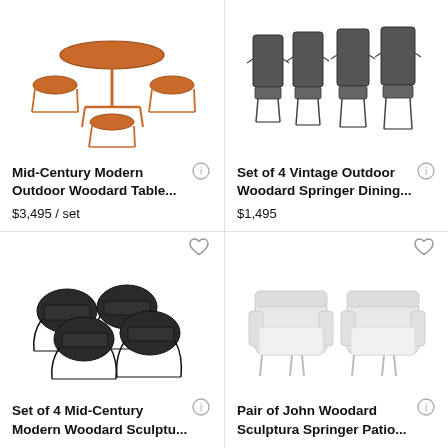[Figure (photo): Mid-Century Modern Outdoor Woodard Table set in rust/orange color, round table with 4 chairs]
Mid-Century Modern Outdoor Woodard Table...
$3,495 / set
[Figure (photo): Set of 4 Vintage Outdoor Woodard Springer Dining chairs in dark/black metal]
Set of 4 Vintage Outdoor Woodard Springer Dining...
$1,495
[Figure (photo): Set of 4 Mid-Century Modern Woodard Sculptu chairs in black metal wire]
Set of 4 Mid-Century Modern Woodard Sculptu...
$2,995 / set
[Figure (photo): Pair of John Woodard Sculptura Springer Patio chairs in light/white metal]
Pair of John Woodard Sculptura Springer Patio...
$4,450 / set